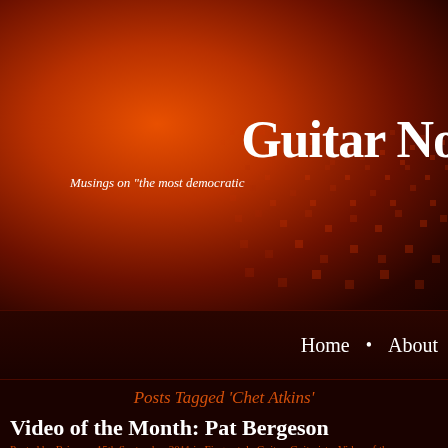[Figure (screenshot): Website header background with orange-red radial glow effect and pixel grid texture on right side]
Guitar No
Musings on "the most democratic
Home • About
Posts Tagged ‘Chet Atkins’
Video of the Month: Pat Bergeson
Posted by Brian on 15th September 2011 in Fingerstyle Guitar, Guitarists, Video of the